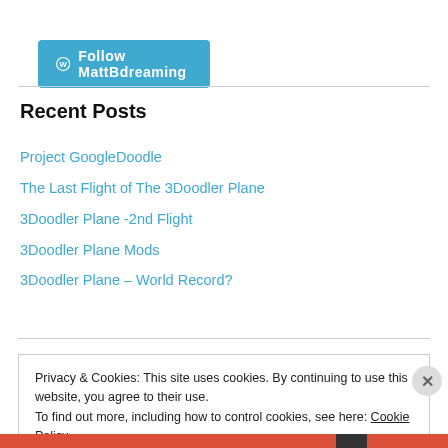[Figure (logo): WordPress Follow MattBdreaming button in teal/blue]
Recent Posts
Project GoogleDoodle
The Last Flight of The 3Doodler Plane
3Doodler Plane -2nd Flight
3Doodler Plane Mods
3Doodler Plane – World Record?
Privacy & Cookies: This site uses cookies. By continuing to use this website, you agree to their use. To find out more, including how to control cookies, see here: Cookie Policy
Close and accept